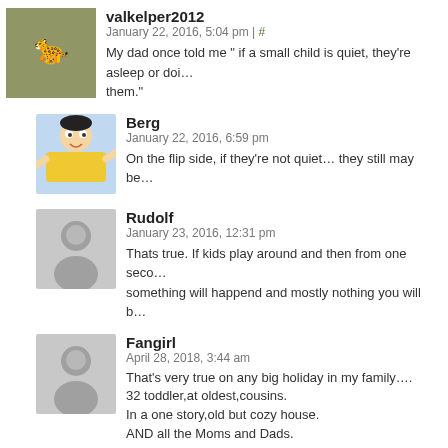valkelper2012
January 22, 2016, 5:04 pm | #
My dad once told me " if a small child is quiet, they're asleep or doi... them."
Berg
January 22, 2016, 6:59 pm
On the flip side, if they're not quiet… they still may be...
Rudolf
January 23, 2016, 12:31 pm
Thats true. If kids play around and then from one seco... something will happend and mostly nothing you will b...
Fangirl
April 28, 2018, 3:44 am
That's very true on any big holiday in my family....
32 toddler,at oldest,cousins.
In a one story,old but cozy house.
AND all the Moms and Dads.
If there is a second of silence,someone has been mur...
Stellagal
April 12, 2016, 1:07 pm | #